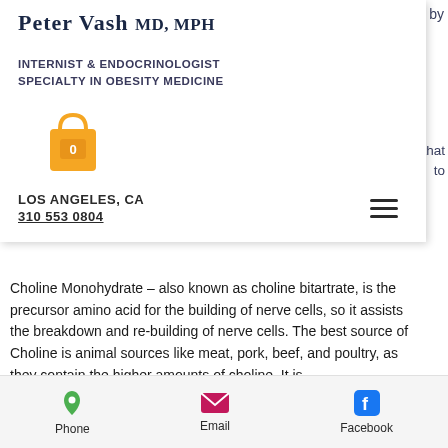PETER VASH MD, MPH
INTERNIST & ENDOCRINOLOGIST SPECIALTY IN OBESITY MEDICINE
LOS ANGELES, CA
310 553 0804
Choline Monohydrate – also known as choline bitartrate, is the precursor amino acid for the building of nerve cells, so it assists the breakdown and re-building of nerve cells. The best source of Choline is animal sources like meat, pork, beef, and poultry, as they contain the higher amounts of choline. It is
Phone   Email   Facebook